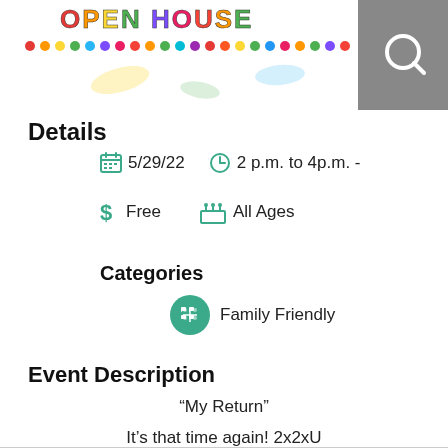[Figure (illustration): Colorful 'Open House' event banner with rainbow-colored text, polka dots, and confetti on white background. A grey search icon box is in the top-right corner.]
Details
5/29/22  2 p.m. to 4p.m. -
$ Free  All Ages
Categories
Family Friendly
Event Description
“My Return”
It’s that time again! 2x2xU